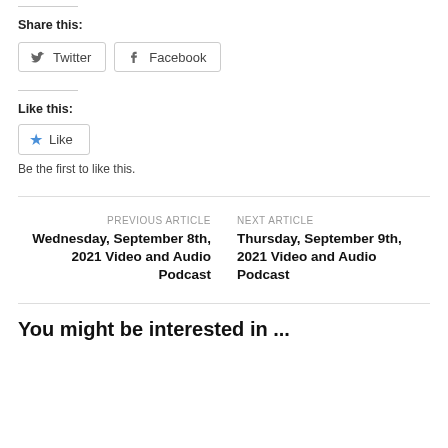Share this:
Twitter  Facebook
Like this:
Like
Be the first to like this.
PREVIOUS ARTICLE
Wednesday, September 8th, 2021 Video and Audio Podcast
NEXT ARTICLE
Thursday, September 9th, 2021 Video and Audio Podcast
You might be interested in ...